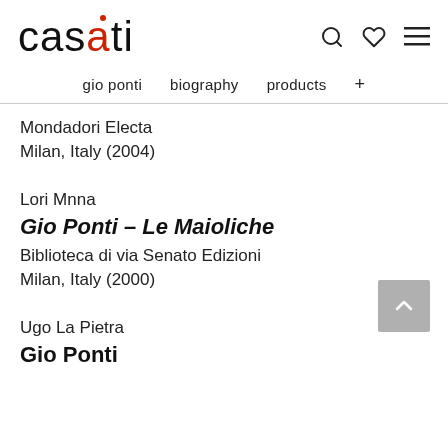casati
gio ponti  biography  products  +
Mondadori Electa
Milan, Italy (2004)
Lori Mnna
Gio Ponti – Le Maioliche
Biblioteca di via Senato Edizioni
Milan, Italy (2000)
Ugo La Pietra
Gio Ponti